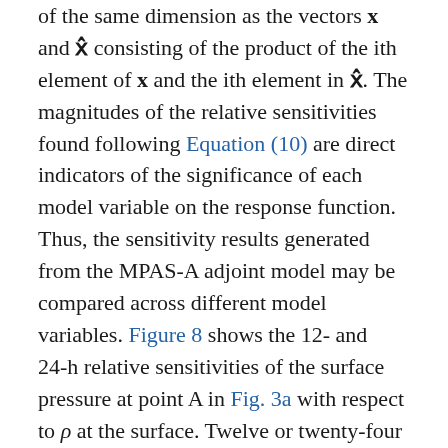of the same dimension as the vectors x and x̂ consisting of the product of the ith element of x and the ith element in x̂. The magnitudes of the relative sensitivities found following Equation (10) are direct indicators of the significance of each model variable on the response function. Thus, the sensitivity results generated from the MPAS-A adjoint model may be compared across different model variables. Figure 8 shows the 12- and 24-h relative sensitivities of the surface pressure at point A in Fig. 3a with respect to ρ at the surface. Twelve or twenty-four hours prior to 0000 UTC on day 9, low-pressure centres were still to the southwest of point A. The response function is most sensitive in upstream regions following the isobars, with 24-h sensitivity results further away along and across the isobars. In comparison, Fig. 9 shows the 12-